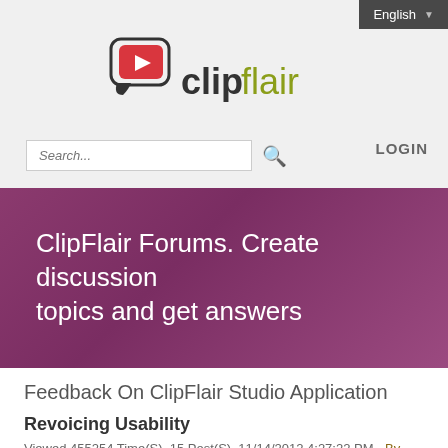English ▾
[Figure (logo): ClipFlair logo — speech bubble icon with red play button and text 'clipflair' where 'clip' is dark/black and 'flair' is olive/yellow-green]
Search...
LOGIN
ClipFlair Forums. Create discussion topics and get answers
Feedback On ClipFlair Studio Application
Revoicing Usability
Viewed 455254 Time(S), 15 Post(S), 11/14/2012 4:27:22 PM - By George